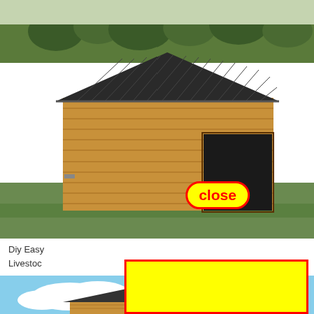[Figure (photo): Photograph of a wooden barn/shed with dark corrugated metal roof in a rural field setting with trees and grass in the background. A yellow 'close' button with red border is overlaid on the image.]
Diy Easy Livestock
[Figure (photo): Partial photo of a blue sky with white clouds visible at the bottom of the page, partially obscured by a large yellow rectangle with red border overlay.]